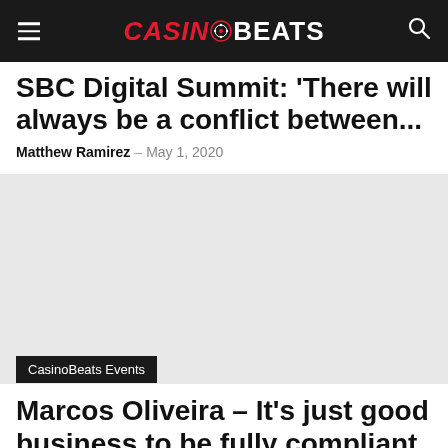CASINOBEATS
SBC Digital Summit: 'There will always be a conflict between...'
Matthew Ramirez - May 1, 2020
[Figure (photo): Article image placeholder]
CasinoBeats Events
Marcos Oliveira – It's just good business to be fully compliant
Craig Davies - May 1, 2020